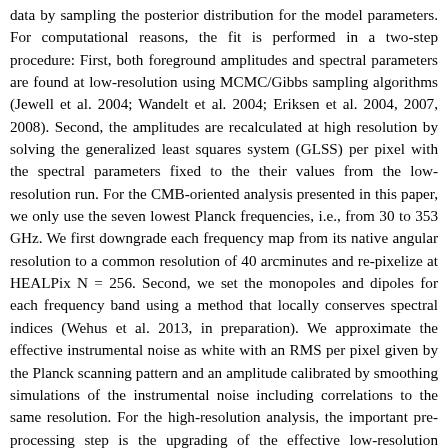data by sampling the posterior distribution for the model parameters. For computational reasons, the fit is performed in a two-step procedure: First, both foreground amplitudes and spectral parameters are found at low-resolution using MCMC/Gibbs sampling algorithms (Jewell et al. 2004; Wandelt et al. 2004; Eriksen et al. 2004, 2007, 2008). Second, the amplitudes are recalculated at high resolution by solving the generalized least squares system (GLSS) per pixel with the spectral parameters fixed to the their values from the low-resolution run. For the CMB-oriented analysis presented in this paper, we only use the seven lowest Planck frequencies, i.e., from 30 to 353 GHz. We first downgrade each frequency map from its native angular resolution to a common resolution of 40 arcminutes and re-pixelize at HEALPix N = 256. Second, we set the monopoles and dipoles for each frequency band using a method that locally conserves spectral indices (Wehus et al. 2013, in preparation). We approximate the effective instrumental noise as white with an RMS per pixel given by the Planck scanning pattern and an amplitude calibrated by smoothing simulations of the instrumental noise including correlations to the same resolution. For the high-resolution analysis, the important pre-processing step is the upgrading of the effective low-resolution mixing matrices to full Planck resolution: this is done by repixelizing from N = 256 to 2048 in harmonic space, ensuring that potential pixelization effects from the low-resolution map do not introduce sharp boundaries in the high-resolution map.